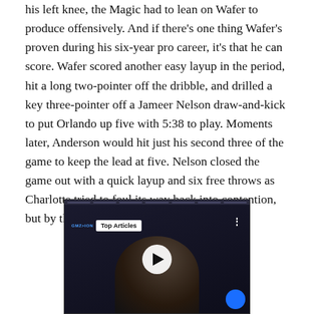his left knee, the Magic had to lean on Wafer to produce offensively. And if there's one thing Wafer's proven during his six-year pro career, it's that he can score. Wafer scored another easy layup in the period, hit a long two-pointer off the dribble, and drilled a key three-pointer off a Jameer Nelson draw-and-kick to put Orlando up five with 5:38 to play. Moments later, Anderson would hit just his second three of the game to keep the lead at five. Nelson closed the game out with a quick layup and six free throws as Charlotte tried to foul its way back into contention, but by then the game had escaped it.
[Figure (screenshot): Video player showing Top Articles section with a play button overlay on a dark background showing a person, with a blue circle in the bottom right corner.]